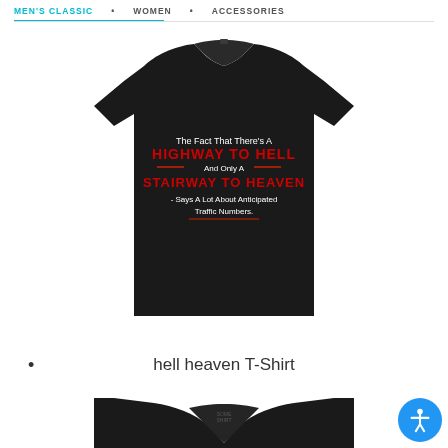MEN'S CLASSIC • WOMEN • ACCESSORIES
[Figure (photo): Black t-shirt with text: The Fact That There's A HIGHWAY TO HELL And Only A STAIRWAY TO HEAVEN Says A Lot About Anticipated Traffic Numbers.]
hell heaven T-Shirt
[Figure (photo): Black v-neck t-shirt, partial view showing neckline and shoulders]